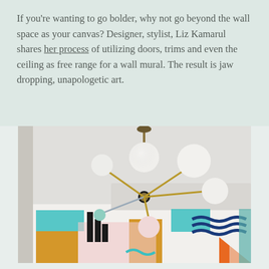If you're wanting to go bolder, why not go beyond the wall space as your canvas? Designer, stylist, Liz Kamarul shares her process of utilizing doors, trims and even the ceiling as free range for a wall mural. The result is jaw dropping, unapologetic art.
[Figure (photo): Interior room photo showing a mid-century modern sputnik-style chandelier with white globe bulbs and brass arms hanging from the ceiling, below which is a colorful geometric wall mural featuring teal, mustard yellow, pink, navy blue wavy stripes, and orange shapes on white walls.]